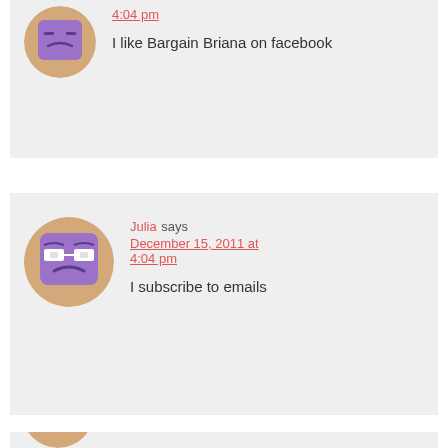[Figure (illustration): Purple cartoon avatar in a circular frame (partially visible at top)]
4:04 pm
I like Bargain Briana on facebook
[Figure (illustration): Purple cartoon avatar with glasses in a circular frame]
Julia says December 15, 2011 at 4:04 pm
I subscribe to emails
[Figure (illustration): Partially visible circular avatar at the bottom of the page]